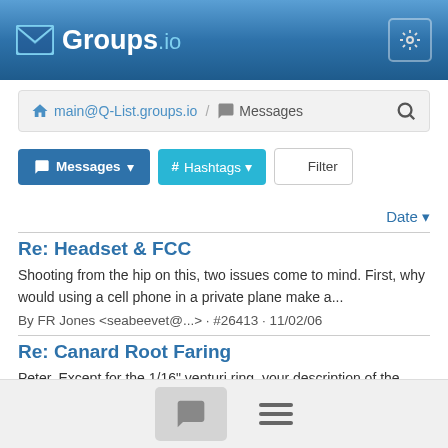Groups.io
main@Q-List.groups.io / Messages
Messages  # Hashtags  Filter
Date
Re: Headset & FCC
Shooting from the hip on this, two issues come to mind. First, why would using a cell phone in a private plane make a...
By FR Jones <seabeevet@...> · #26413 · 11/02/06
Re: Canard Root Faring
Peter, Except for the 1/16" venturi ring, your description of the augmenter setup sounds like my current setup. The 1/16" ring...